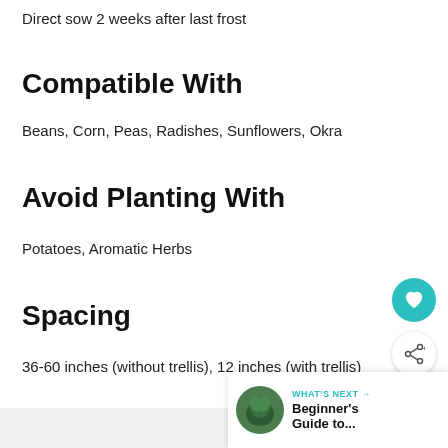Direct sow 2 weeks after last frost
Compatible With
Beans, Corn, Peas, Radishes, Sunflowers, Okra
Avoid Planting With
Potatoes, Aromatic Herbs
Spacing
36-60 inches (without trellis), 12 inches (with trellis)